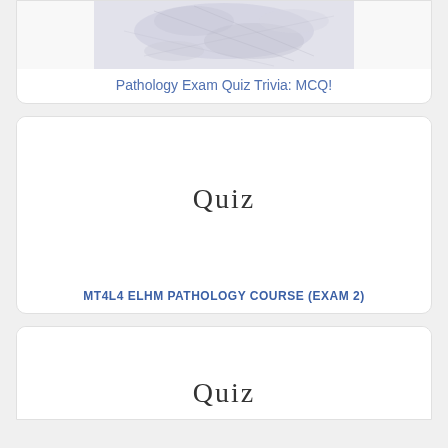[Figure (photo): Partial top of a card showing a grayscale pathology microscopy image, cropped at the top of the page]
Pathology Exam Quiz Trivia: MCQ!
[Figure (illustration): Card showing the word 'Quiz' in handwriting-style font on a white background]
MT4L4 ELHM PATHOLOGY COURSE (EXAM 2)
[Figure (illustration): Partial bottom card showing the word 'Quiz' in handwriting-style font, card is cropped at the bottom of the page]